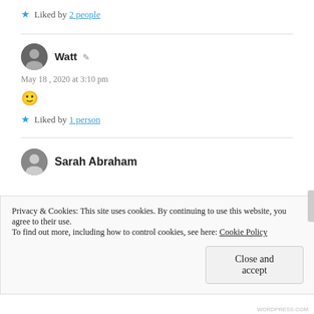★ Liked by 2 people
Watt · May 18, 2020 at 3:10 pm
🙂
★ Liked by 1 person
Sarah Abraham
Privacy & Cookies: This site uses cookies. By continuing to use this website, you agree to their use.
To find out more, including how to control cookies, see here: Cookie Policy
Close and accept